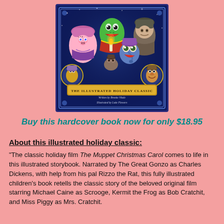[Figure (illustration): Book cover for The Muppet Christmas Carol illustrated holiday classic, showing Muppet characters including Miss Piggy, Kermit the Frog, Gonzo, and others in a Christmas Carol scene. Written by Brooke Vitale, illustrated by Luke Flowers.]
Buy this hardcover book now for only $18.95
About this illustrated holiday classic:
"The classic holiday film The Muppet Christmas Carol comes to life in this illustrated storybook. Narrated by The Great Gonzo as Charles Dickens, with help from his pal Rizzo the Rat, this fully illustrated children's book retells the classic story of the beloved original film starring Michael Caine as Scrooge, Kermit the Frog as Bob Cratchit, and Miss Piggy as Mrs. Cratchit.